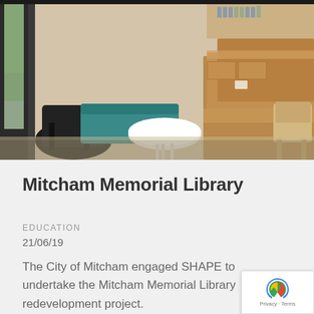[Figure (photo): Interior photo of Mitcham Memorial Library showing modern furniture: a round white table, teal bench seating by windows, wooden tiered desk/counter surfaces, and light wooden chairs on a beige carpet floor. Large windows on the left let in natural light.]
Mitcham Memorial Library
EDUCATION
21/06/19
The City of Mitcham engaged SHAPE to undertake the Mitcham Memorial Library redevelopment project.